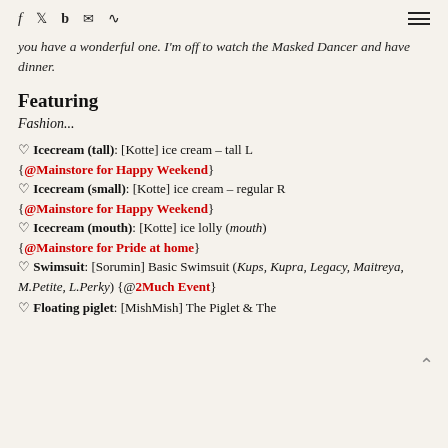f  b  envelope  rss  [hamburger menu]
you have a wonderful one. I'm off to watch the Masked Dancer and have dinner.
Featuring
Fashion...
♡ Icecream (tall): [Kotte] ice cream – tall L {@Mainstore for Happy Weekend}
♡ Icecream (small): [Kotte] ice cream – regular R {@Mainstore for Happy Weekend}
♡ Icecream (mouth): [Kotte] ice lolly (mouth) {@Mainstore for Pride at home}
♡ Swimsuit: [Sorumin] Basic Swimsuit (Kups, Kupra, Legacy, Maitreya, M.Petite, L.Perky) {@2Much Event}
♡ Floating piglet: [MishMish] The Piglet & The